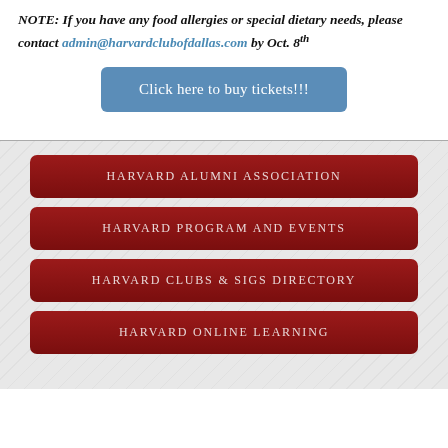NOTE: If you have any food allergies or special dietary needs, please contact admin@harvardclubofdallas.com by Oct. 8th
Click here to buy tickets!!!
HARVARD ALUMNI ASSOCIATION
HARVARD PROGRAM AND EVENTS
HARVARD CLUBS & SIGS DIRECTORY
HARVARD ONLINE LEARNING